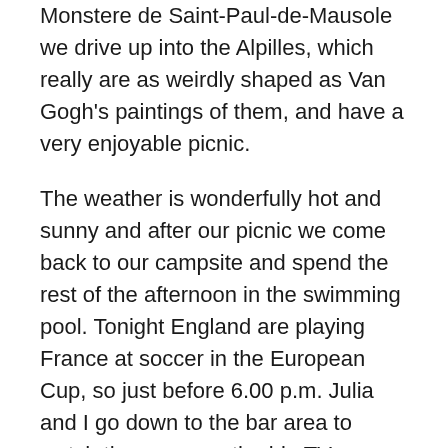Monstere de Saint-Paul-de-Mausole we drive up into the Alpilles, which really are as weirdly shaped as Van Gogh's paintings of them, and have a very enjoyable picnic.
The weather is wonderfully hot and sunny and after our picnic we come back to our campsite and spend the rest of the afternoon in the swimming pool. Tonight England are playing France at soccer in the European Cup, so just before 6.00 p.m. Julia and I go down to the bar area to watch the game on the big TV screen. There are quite a few French football fans there but we hold our own. We meet up with the Jolly Geordies the family of Brits – mother and father and their daughter, who all come from Newcastle – who we have got to know. They are great fun and we have a good laugh together. Miss Jolly Geordie has an English flag, and we all have some bottles of beer, and we make more noise than all the French fans put